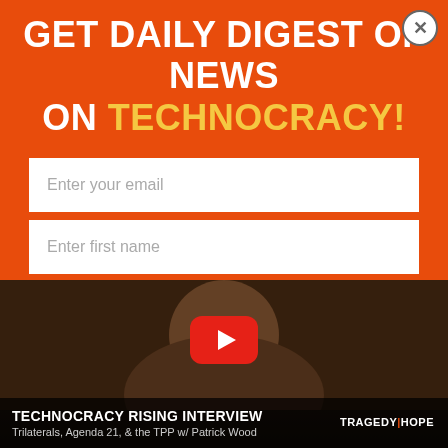GET DAILY DIGEST OF NEWS ON TECHNOCRACY!
Enter your email
Enter first name
Enter last name
SUBSCRIBE
[Figure (screenshot): YouTube video thumbnail showing a man speaking, with red YouTube play button overlay and caption 'TECHNOCRACY RISING INTERVIEW - Trilaterals, Agenda 21, & the TPP w/ Patrick Wood' and TRAGEDY|HOPE logo]